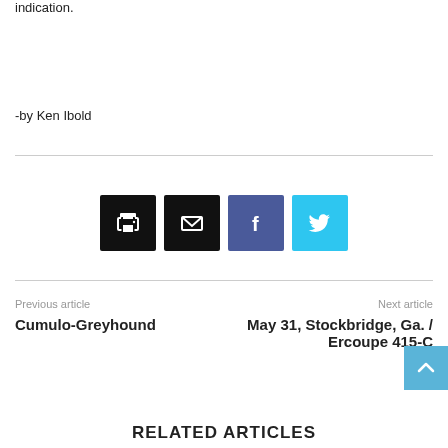indication.
-by Ken Ibold
[Figure (infographic): Four social sharing buttons: print (black), email (black), Facebook (dark blue-purple), Twitter (light blue), each with a white icon.]
Previous article
Next article
Cumulo-Greyhound
May 31, Stockbridge, Ga. / Ercoupe 415-C
RELATED ARTICLES